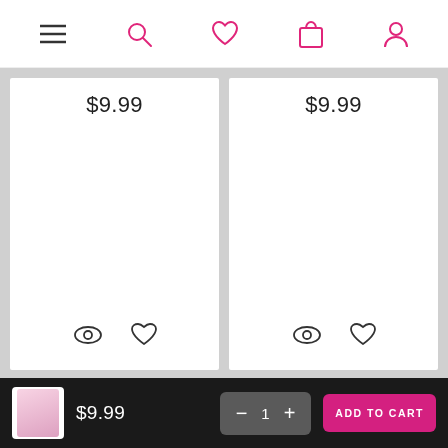[Figure (screenshot): Top navigation bar with hamburger menu, search, heart/wishlist, shopping bag, and user profile icons]
$9.99
$9.99
ABOUT UMBERTO GIANNINI
CUSTOMER SERVICE
USEFUL LINKS
CONTACT US
Subscribe for discounts, status updates...
$9.99  −  1  +  ADD TO CART